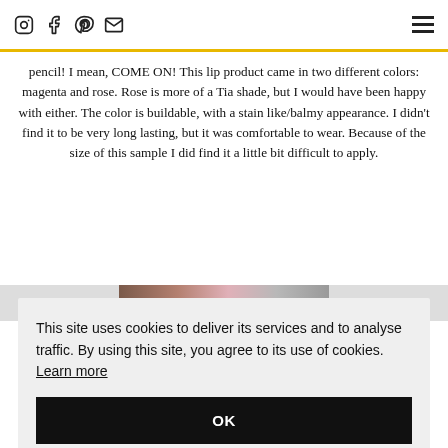Social media icons (Instagram, Facebook, Pinterest, Email) and hamburger menu
pencil! I mean, COME ON! This lip product came in two different colors: magenta and rose. Rose is more of a Tia shade, but I would have been happy with either. The color is buildable, with a stain like/balmy appearance. I didn't find it to be very long lasting, but it was comfortable to wear. Because of the size of this sample I did find it a little bit difficult to apply.
[Figure (photo): Partial image strip showing a person's face with pink lips]
This site uses cookies to deliver its services and to analyse traffic. By using this site, you agree to its use of cookies. Learn more
OK